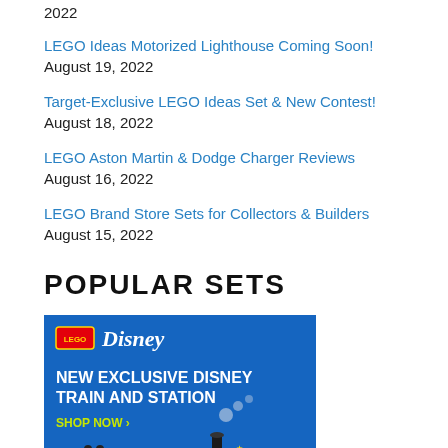2022
LEGO Ideas Motorized Lighthouse Coming Soon! August 19, 2022
Target-Exclusive LEGO Ideas Set & New Contest! August 18, 2022
LEGO Aston Martin & Dodge Charger Reviews August 16, 2022
LEGO Brand Store Sets for Collectors & Builders August 15, 2022
POPULAR SETS
[Figure (photo): LEGO Disney advertisement showing a red and black Disney Train and Station set on a blue background with LEGO Disney logos and 'NEW EXCLUSIVE DISNEY TRAIN AND STATION SHOP NOW >' text]